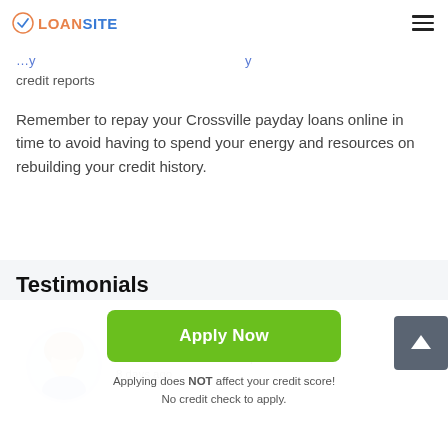LOANSITE
credit reports
Remember to repay your Crossville payday loans online in time to avoid having to spend your energy and resources on rebuilding your credit history.
Testimonials
Luisa of Palm Desert, CA review 8 days ago
Apply Now
Applying does NOT affect your credit score! No credit check to apply.